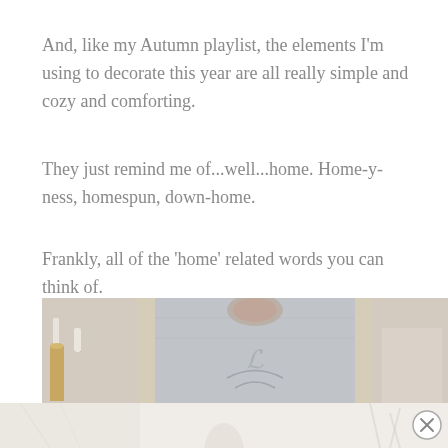And, like my Autumn playlist, the elements I'm using to decorate this year are all really simple and cozy and comforting.
They just remind me of...well...home. Home-y-ness, homespun, down-home.
Frankly, all of the ‘home’ related words you can think of.
[Figure (photo): Interior home decoration scene with an ornate vintage mirror with floral/bird motifs, white pillar candles on wooden candlestick holders, against a neutral wall background.]